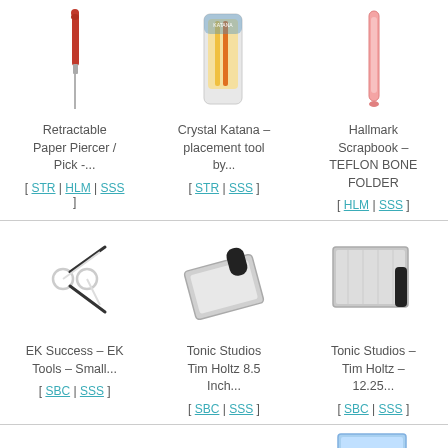[Figure (illustration): Retractable Paper Piercer / Pick tool - red and silver]
Retractable Paper Piercer / Pick -...
[ STR | HLM | SSS ]
[Figure (illustration): Crystal Katana placement tool in blister packaging]
Crystal Katana – placement tool by...
[ STR | SSS ]
[Figure (illustration): Hallmark Scrapbook Teflon Bone Folder - pink]
Hallmark Scrapbook – TEFLON BONE FOLDER
[ HLM | SSS ]
[Figure (illustration): Small scissors with black blades]
EK Success – EK Tools – Small...
[ SBC | SSS ]
[Figure (illustration): Tonic Studios Tim Holtz 8.5 Inch guillotine trimmer - silver]
Tonic Studios Tim Holtz 8.5 Inch...
[ SBC | SSS ]
[Figure (illustration): Tonic Studios Tim Holtz 12.25 guillotine trimmer - silver]
Tonic Studios – Tim Holtz – 12.25...
[ SBC | SSS ]
[Figure (illustration): Partial product image at bottom right]